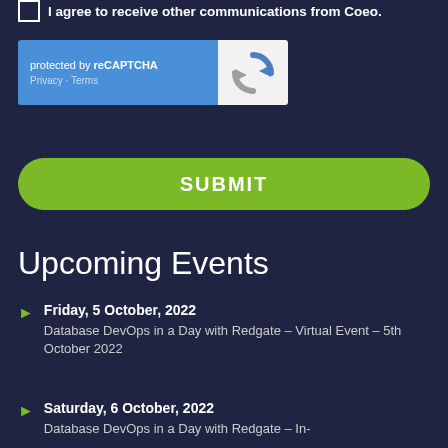I agree to receive other communications from Coeo.
[Figure (screenshot): reCAPTCHA widget with blue background showing 'protected by reCAPTCHA' and Privacy/Terms links on the left, and the reCAPTCHA logo on a white background on the right]
SUBMIT
Upcoming Events
Friday, 5 October, 2022
Database DevOps in a Day with Redgate – Virtual Event – 5th October 2022
Saturday, 6 October, 2022
Database DevOps in a Day with Redgate – In-